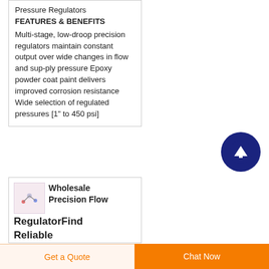Pressure Regulators
FEATURES & BENEFITS
Multi-stage, low-droop precision regulators maintain constant output over wide changes in flow and sup-ply pressure Epoxy powder coat paint delivers improved corrosion resistance Wide selection of regulated pressures [1" to 450 psi]
[Figure (other): Dark navy blue circular scroll-to-top button with white upward arrow icon]
[Figure (illustration): Small product image thumbnail showing flow regulator components on light pink background]
Wholesale Precision Flow RegulatorFind Reliable
Get a Quote
Chat Now